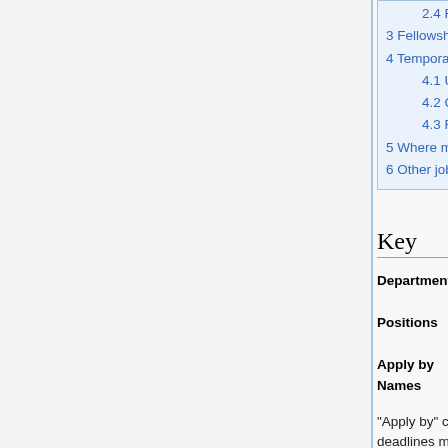2.4 Rest of the World
3 Fellowships and institutes
4 Temporary research positions
4.1 United States
4.2 Canada
4.3 Rest of the World
5 Where mathematics jobs are posted
6 Other jobs wikis and rumor mills
Key
| Category | Code | Meaning | Code2 | Meaning2 |
| --- | --- | --- | --- | --- |
| Departments | * | MathJobs position (s) |  | st |
|  | (b) | biomath/biostat | (c) | co |
| Positions | (p) | merely preferred | (t) | te |
|  | (o) | open rank | (n) | n |
| Apply by | (∞) | open indefinitely |  |  |
| Names | italic | offer | bold | ad |
|  | ... | and others | □ | se |
"Apply by" can mean a strict deadline, or full consideration, or something else. Expired deadlines may be replaced by the last